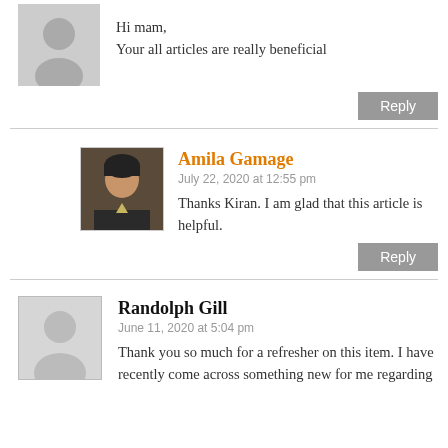Hi mam,
Your all articles are really beneficial
Reply
Amila Gamage
July 22, 2020 at 12:55 pm
Thanks Kiran. I am glad that this article is helpful.
Reply
Randolph Gill
June 11, 2020 at 5:04 pm
Thank you so much for a refresher on this item. I have recently come across something new for me regarding